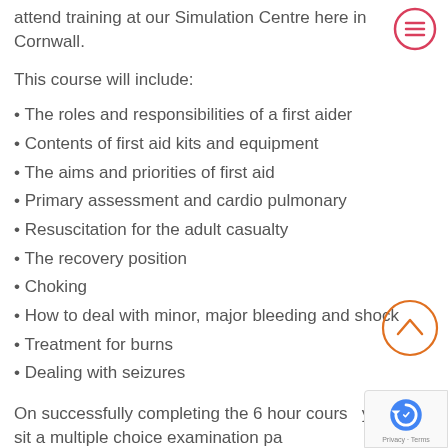attend training at our Simulation Centre here in Cornwall.
This course will include:
The roles and responsibilities of a first aider
Contents of first aid kits and equipment
The aims and priorities of first aid
Primary assessment and cardio pulmonary
Resuscitation for the adult casualty
The recovery position
Choking
How to deal with minor, major bleeding and shock
Treatment for burns
Dealing with seizures
On successfully completing the 6 hour course you will sit a multiple choice examination paper to confirm your understanding the accredited